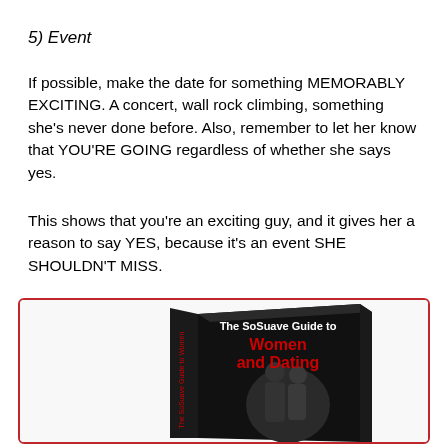5) Event
If possible, make the date for something MEMORABLY EXCITING. A concert, wall rock climbing, something she's never done before. Also, remember to let her know that YOU'RE GOING regardless of whether she says yes.
This shows that you're an exciting guy, and it gives her a reason to say YES, because it's an event SHE SHOULDN'T MISS.
[Figure (photo): A 3D rendered book titled 'The SoSuave Guide to Women and Dating' with a dark cover showing a couple embracing, displayed inside a red-bordered box.]